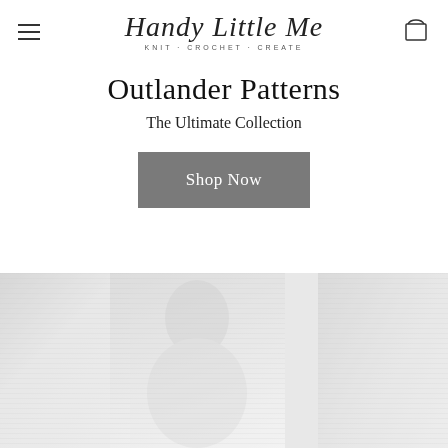Handy Little Me — Knit · Crochet · Create
Outlander Patterns
The Ultimate Collection
Shop Now
[Figure (photo): Faded/watermark-style collage of knitting and crochet pattern images, including what appears to be a person wearing a knitted garment, shown in very light gray tones at the bottom of the page.]